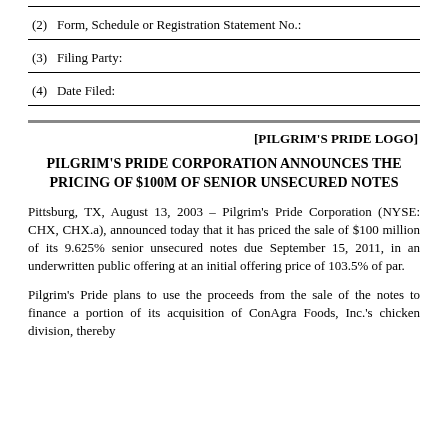(2)  Form, Schedule or Registration Statement No.:
(3)  Filing Party:
(4)  Date Filed:
[Figure (logo): [PILGRIM'S PRIDE LOGO]]
PILGRIM'S PRIDE CORPORATION ANNOUNCES THE PRICING OF $100M OF SENIOR UNSECURED NOTES
Pittsburg, TX, August 13, 2003 – Pilgrim's Pride Corporation (NYSE: CHX, CHX.a), announced today that it has priced the sale of $100 million of its 9.625% senior unsecured notes due September 15, 2011, in an underwritten public offering at an initial offering price of 103.5% of par.
Pilgrim's Pride plans to use the proceeds from the sale of the notes to finance a portion of its acquisition of ConAgra Foods, Inc.'s chicken division, thereby